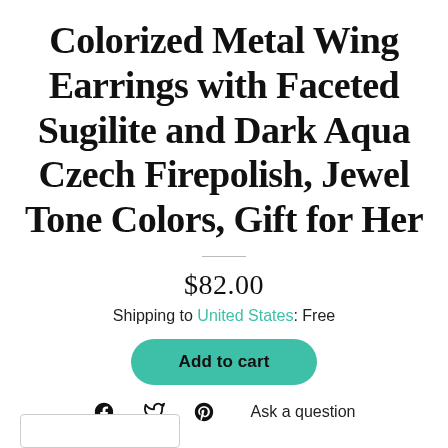Colorized Metal Wing Earrings with Faceted Sugilite and Dark Aqua Czech Firepolish, Jewel Tone Colors, Gift for Her
$82.00
Shipping to United States: Free
Add to cart
Ask a question